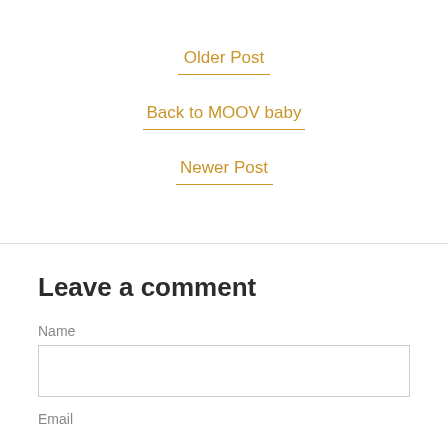Older Post
Back to MOOV baby
Newer Post
Leave a comment
Name
Email